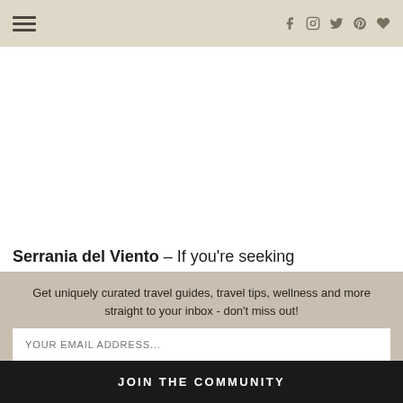Navigation header with hamburger menu and social icons (f, Instagram, Twitter, Pinterest, heart)
[Figure (photo): White/blank content area representing a cropped image section]
Serrania del Viento – If you're seeking more of an eco-friendly, sustainable option surrounded by countryside then
Get uniquely curated travel guides, travel tips, wellness and more straight to your inbox - don't miss out!
YOUR EMAIL ADDRESS...
JOIN THE COMMUNITY